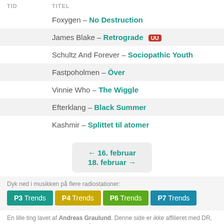| TID | TITEL |
| --- | --- |
|  | Foxygen – No Destruction |
|  | James Blake – Retrograde [UU] |
|  | Schultz And Forever – Sociopathic Youth |
|  | Fastpoholmen – Över |
|  | Vinnie Who – The Wiggle |
|  | Efterklang – Black Summer |
|  | Kashmir – Splittet til atomer |
← 16. februar
18. februar →
Dyk ned i musikken på flere radiostationer:
P3 Trends  P4 Trends  P6 Trends  P7 Trends
En lille ting lavet af Andreas Graulund. Denne side er ikke affilieret med DR, og er totalt uofficiel. Indekset går tilbage til d. 20. april 2010.
Totale daglige afspilninger   Mest spillede sange i alt